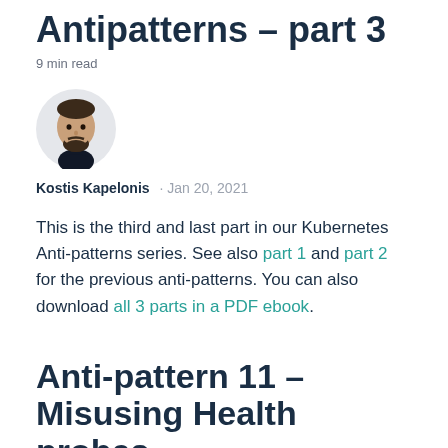Antipatterns – part 3
9 min read
[Figure (illustration): Circular avatar portrait of a man with dark hair and beard wearing a black shirt]
Kostis Kapelonis · Jan 20, 2021
This is the third and last part in our Kubernetes Anti-patterns series. See also part 1 and part 2 for the previous anti-patterns. You can also download all 3 parts in a PDF ebook.
Anti-pattern 11 – Misusing Health probes